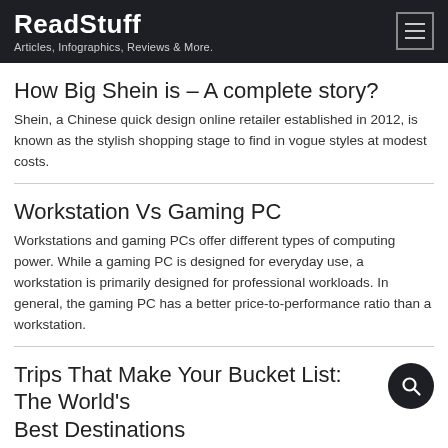ReadStuff — Articles, Infographics, Reviews & More.
How Big Shein is – A complete story?
Shein, a Chinese quick design online retailer established in 2012, is known as the stylish shopping stage to find in vogue styles at modest costs.
Workstation Vs Gaming PC
Workstations and gaming PCs offer different types of computing power. While a gaming PC is designed for everyday use, a workstation is primarily designed for professional workloads. In general, the gaming PC has a better price-to-performance ratio than a workstation.
Trips That Make Your Bucket List: The World's Best Destinations